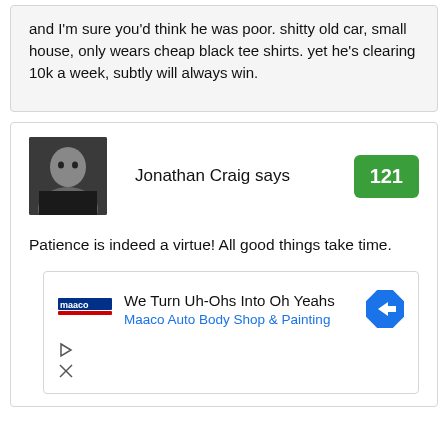and I'm sure you'd think he was poor. shitty old car, small house, only wears cheap black tee shirts. yet he's clearing 10k a week, subtly will always win.
Jonathan Craig says
121
Patience is indeed a virtue! All good things take time.
[Figure (infographic): Maaco Auto Body Shop advertisement: 'We Turn Uh-Ohs Into Oh Yeahs' with Maaco logo and navigation arrow icon]